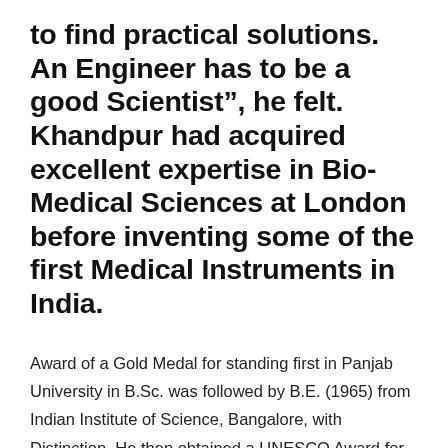to find practical solutions. An Engineer has to be a good Scientist", he felt.  Khandpur had acquired excellent expertise in Bio-Medical Sciences at London before inventing some of the first Medical Instruments in India.
Award of a Gold Medal for standing first in Panjab University in B.Sc. was followed by B.E. (1965) from Indian Institute of Science, Bangalore, with Distinction. He then obtained a UNESCO Award for Post-Graduate work at Royal College of Surgeons in London in 1968 and Ph.D. from Punjab Technical University. For Advanced Studies in Bio-Medical Instrumentation, he